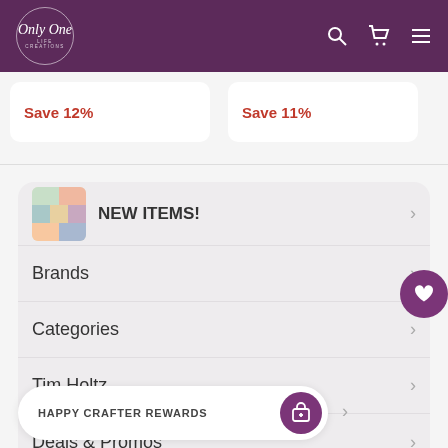[Figure (screenshot): Only One Life Creations logo in white italic script inside a circle outline, on purple header]
Save 12%
Save 11%
NEW ITEMS!
Brands
Categories
Tim Holtz
Deals & Promos
HAPPY CRAFTER REWARDS